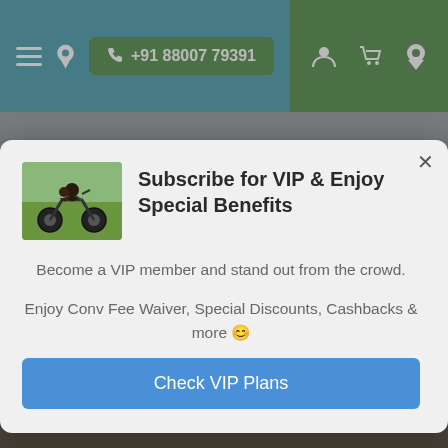[Figure (screenshot): Mobile website navigation bar with teal left section showing hamburger menu, pin icon, and green phone button '+91 88007 79391'; green right section with user, cart, and location icons]
[Figure (photo): Motorcycle with riders photo used as modal header image]
Subscribe for VIP & Enjoy Special Benefits
Become a VIP member and stand out from the crowd.
Enjoy Conv Fee Waiver, Special Discounts, Cashbacks & more 😊
Check VIP Plans
RENTRIP COMMERCIAL VIDEO